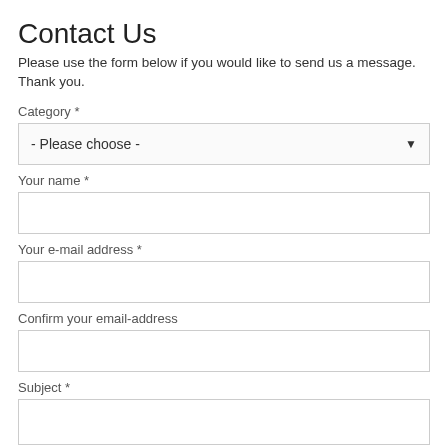Contact Us
Please use the form below if you would like to send us a message. Thank you.
Category *
- Please choose -
Your name *
Your e-mail address *
Confirm your email-address
Subject *